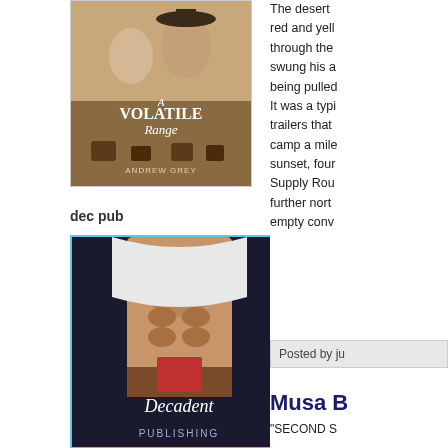[Figure (illustration): Book cover for 'A Volatile Range' by Andrew Grey showing two men and horses in a desert setting]
dec pub
[Figure (illustration): Book cover for 'Decadent Publishing' showing a shirtless man lifting his shirt]
The desert swung his a being pulled It was a typi trailers that camp a mile sunset, four Supply Rou further north empty conv
Posted by ju
Musa B
"SECOND S Musa Publis BLURB: Sh donut shop